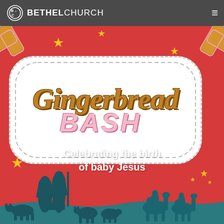BETHEL CHURCH
[Figure (illustration): Gingerbread Bash event banner with red background, gingerbread cookie decorations in corners, yellow stars, a white stitched badge containing the text 'Gingerbread BASH' in decorative lettering, subtitle 'Celebrating the birth of baby Jesus', and nativity scene silhouettes at the bottom including Mary, Joseph, baby Jesus, animals, and three wise men on camels.]